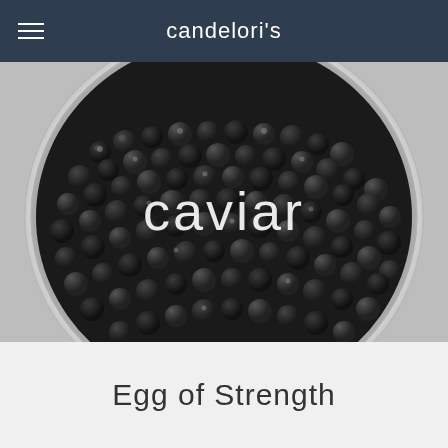candelori's
[Figure (photo): Close-up overhead photograph of a round tin filled with black caviar (fish roe), with the word 'caviar' overlaid in white thin font in the center of the image. The tin has a silver metallic rim and the background shows a light grey linen texture.]
Egg of Strength